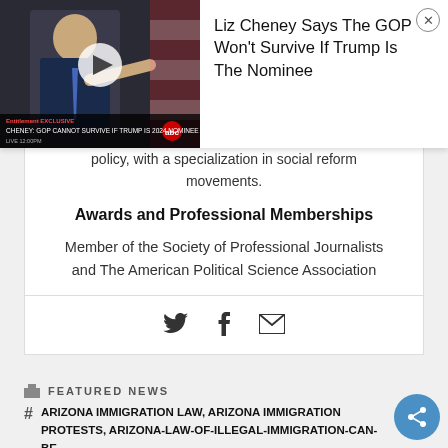[Figure (screenshot): Video thumbnail of a news clip showing a person pointing, with ABC News chyron 'CHENEY: GOP CANNOT SURVIVE IF TRUMP IS 2024 NOMINEE', overlaid with a play button]
Liz Cheney Says The GOP Won't Survive If Trump Is The Nominee
policy, with a specialization in social reform movements.
Awards and Professional Memberships
Member of the Society of Professional Journalists and The American Political Science Association
[Figure (illustration): Social media share icons: Twitter bird, Facebook f, and envelope/email icon]
FEATURED NEWS
ARIZONA IMMIGRATION LAW, ARIZONA IMMIGRATION PROTESTS, ARIZONA-LAW-OF-ILLEGAL-IMMIGRATION-CAN-BE-